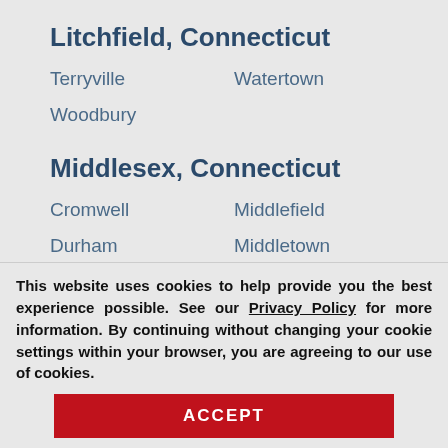Litchfield, Connecticut
Terryville
Watertown
Woodbury
Middlesex, Connecticut
Cromwell
Middlefield
Durham
Middletown
Portland
New Haven, Connecticut
[Figure (screenshot): Red popup button reading 'Request a Free' with a white X close button]
This website uses cookies to help provide you the best experience possible. See our Privacy Policy for more information. By continuing without changing your cookie settings within your browser, you are agreeing to our use of cookies.
ACCEPT